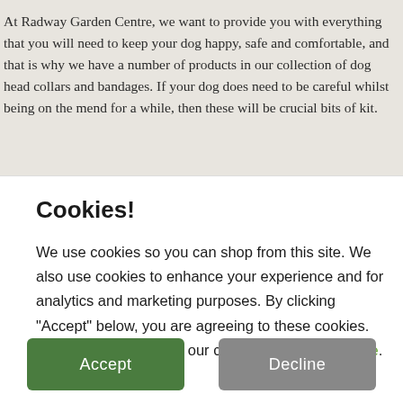At Radway Garden Centre, we want to provide you with everything that you will need to keep your dog happy, safe and comfortable, and that is why we have a number of products in our collection of dog head collars and bandages. If your dog does need to be careful whilst being on the mend for a while, then these will be crucial bits of kit.
Cookies!
We use cookies so you can shop from this site. We also use cookies to enhance your experience and for analytics and marketing purposes. By clicking "Accept" below, you are agreeing to these cookies. To find out more about our cookies please click here.